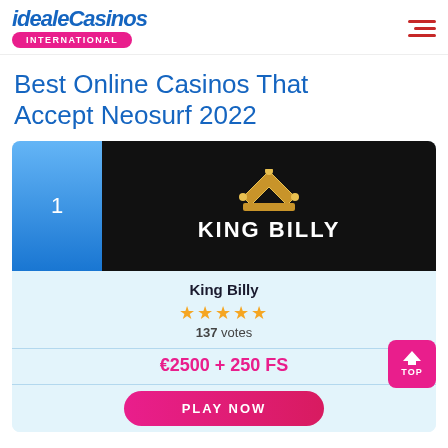idealeCasinos INTERNATIONAL
Best Online Casinos That Accept Neosurf 2022
[Figure (screenshot): Casino card for King Billy showing rank 1, logo with crown on black background, 5-star rating, 137 votes, bonus €2500 + 250 FS, and PLAY NOW button]
King Billy
137 votes
€2500 + 250 FS
PLAY NOW